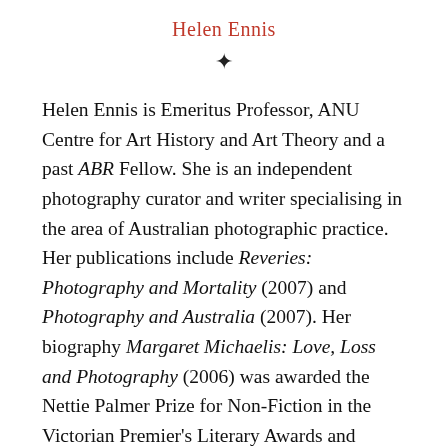Helen Ennis
❧
Helen Ennis is Emeritus Professor, ANU Centre for Art History and Art Theory and a past ABR Fellow. She is an independent photography curator and writer specialising in the area of Australian photographic practice. Her publications include Reveries: Photography and Mortality (2007) and Photography and Australia (2007). Her biography Margaret Michaelis: Love, Loss and Photography (2006) was awarded the Nettie Palmer Prize for Non-Fiction in the Victorian Premier's Literary Awards and